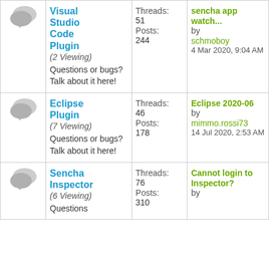| Icon | Forum | Stats | Last Post |
| --- | --- | --- | --- |
| [icon] | Visual Studio Code Plugin (2 Viewing) Questions or bugs? Talk about it here! | Threads: 51
Posts: 244 | sencha app watch... by schmoboy 4 Mar 2020, 9:04 AM |
| [icon] | Eclipse Plugin (7 Viewing) Questions or bugs? Talk about it here! | Threads: 46
Posts: 178 | Eclipse 2020-06 by mimmo.rossi73 14 Jul 2020, 2:53 AM |
| [icon] | Sencha Inspector (6 Viewing) Questions or bugs? | Threads: 76
Posts: 310 | Cannot login to Inspector? by |